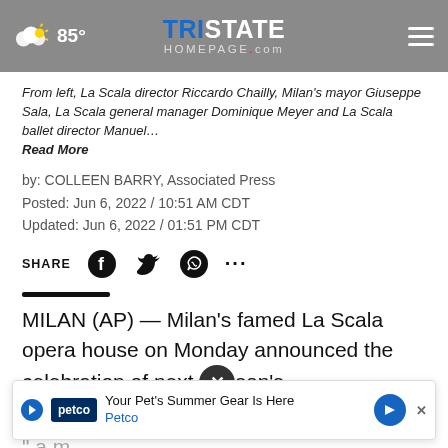85° | TristateHomepage.com
From left, La Scala director Riccardo Chailly, Milan's mayor Giuseppe Sala, La Scala general manager Dominique Meyer and La Scala ballet director Manuel… Read More
by: COLLEEN BARRY, Associated Press
Posted: Jun 6, 2022 / 10:51 AM CDT
Updated: Jun 6, 2022 / 01:51 PM CDT
SHARE
MILAN (AP) — Milan's famed La Scala opera house on Monday announced the celebration of next season's gala p… unov, " a mo… e